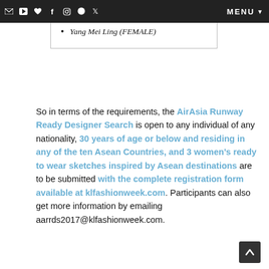MENU
Alja Bastamam (Fashion Designer)
Yang Mei Ling (FEMALE)
So in terms of the requirements, the AirAsia Runway Ready Designer Search is open to any individual of any nationality, 30 years of age or below and residing in any of the ten Asean Countries, and 3 women's ready to wear sketches inspired by Asean destinations are to be submitted with the complete registration form available at klfashionweek.com. Participants can also get more information by emailing aarrds2017@klfashionweek.com.